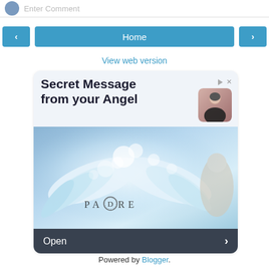Enter Comment
[Figure (screenshot): Navigation bar with left arrow, Home button, right arrow]
View web version
[Figure (illustration): Advertisement: Secret Message from your Angel - PADRE brand ad with angel wings imagery and Open button]
Powered by Blogger.